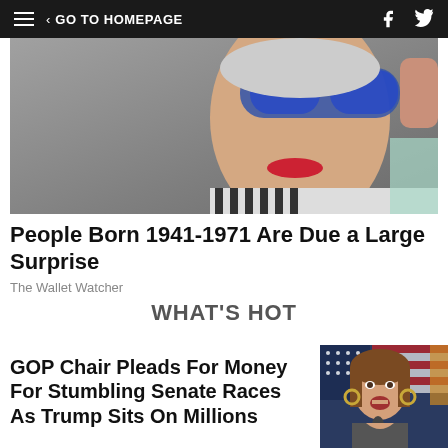GO TO HOMEPAGE
[Figure (photo): Close-up photo of an elderly woman wearing blue sunglasses with red lipstick]
People Born 1941-1971 Are Due a Large Surprise
The Wallet Watcher
WHAT'S HOT
GOP Chair Pleads For Money For Stumbling Senate Races As Trump Sits On Millions
[Figure (photo): Woman speaking at a microphone, American flag visible in background]